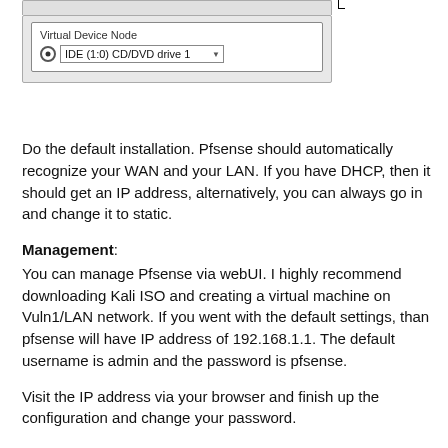[Figure (screenshot): VMware Virtual Device Node dialog showing a radio button selected for IDE (1:0) CD/DVD drive 1 with a dropdown, and a cursor icon visible at the top]
Do the default installation. Pfsense should automatically recognize your WAN and your LAN. If you have DHCP, then it should get an IP address, alternatively, you can always go in and change it to static.
Management:
You can manage Pfsense via webUI. I highly recommend downloading Kali ISO and creating a virtual machine on Vuln1/LAN network. If you went with the default settings, than pfsense will have IP address of 192.168.1.1. The default username is admin and the password is pfsense.
Visit the IP address via your browser and finish up the configuration and change your password.
The management machine should normally be turned off, unless you need to use it to configure pfsense. You also can configure